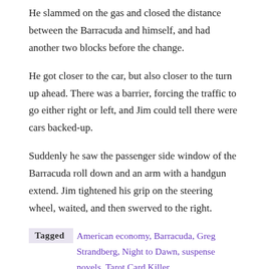He slammed on the gas and closed the distance between the Barracuda and himself, and had another two blocks before the change.
He got closer to the car, but also closer to the turn up ahead. There was a barrier, forcing the traffic to go either right or left, and Jim could tell there were cars backed-up.
Suddenly he saw the passenger side window of the Barracuda roll down and an arm with a handgun extend. Jim tightened his grip on the steering wheel, waited, and then swerved to the right.
Tagged  American economy, Barracuda, Greg Strandberg, Night to Dawn, suspense novels, Tarot Card Killer
Subscribe to Blog via Email
Enter your email address to subscribe to this blog and receive